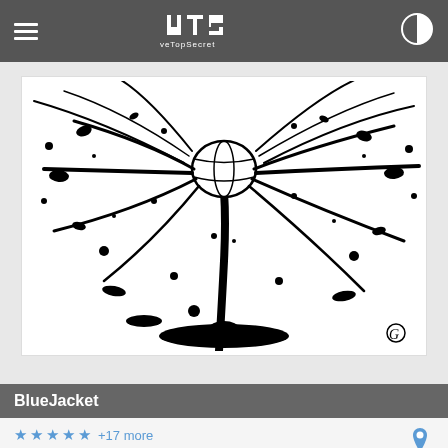ATS AboveTopSecret
[Figure (illustration): Black and white ink illustration of a tree with exploding or splashing ink in all directions, with a globe-like head on one of the branches. Signed with a G symbol in the bottom right.]
BlueJacket
★ ★ ★ ★ ★ +17 more
posted on Mar, 30 2018 @ 09:13 AM
a reply to: scraedtosleep
well, then why keep speading such tripe? I hadnt heard anything about this until you brought it here.